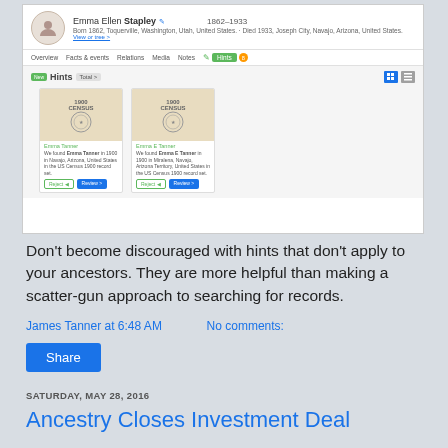[Figure (screenshot): Screenshot of an Ancestry.com genealogy profile page for Emma Ellen Stapley (1862-1933), showing the Hints tab with two 1900 Census records displayed as cards.]
Don't become discouraged with hints that don't apply to your ancestors. They are more helpful than making a scatter-gun approach to searching for records.
James Tanner at 6:48 AM   No comments:
Share
SATURDAY, MAY 28, 2016
Ancestry Closes Investment Deal